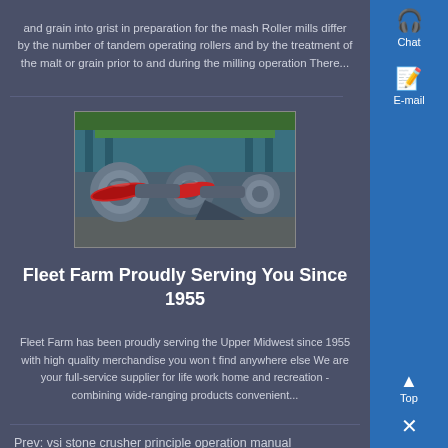and grain into grist in preparation for the mash Roller mills differ by the number of tandem operating rollers and by the treatment of the malt or grain prior to and during the milling operation There...
[Figure (photo): Industrial roller mill machinery showing large cylindrical rollers with red flanged ends in a factory/industrial setting with blue structural elements in the background.]
Fleet Farm Proudly Serving You Since 1955
Fleet Farm has been proudly serving the Upper Midwest since 1955 with high quality merchandise you won t find anywhere else We are your full-service supplier for life work home and recreation - combining wide-ranging products convenient...
Prev: vsi stone crusher principle operation manual
Next: adar produce particle crusher price
Crushing Equipment